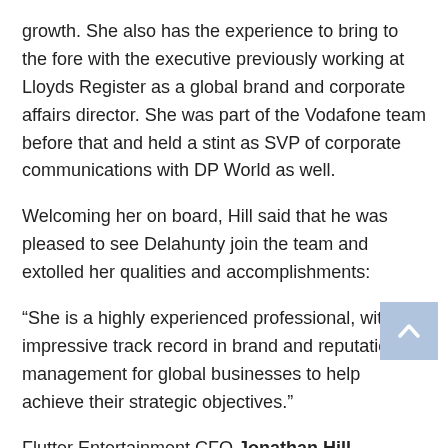growth. She also has the experience to bring to the fore with the executive previously working at Lloyds Register as a global brand and corporate affairs director. She was part of the Vodafone team before that and held a stint as SVP of corporate communications with DP World as well.
Welcoming her on board, Hill said that he was pleased to see Delahunty join the team and extolled her qualities and accomplishments:
“She is a highly experienced professional, with an impressive track record in brand and reputation management for global businesses to help achieve their strategic objectives.”
Flutter Entertainment CFO Jonathan Hill
Flutter confirmed that it would work towards a more sustainable future for its business operations in February.